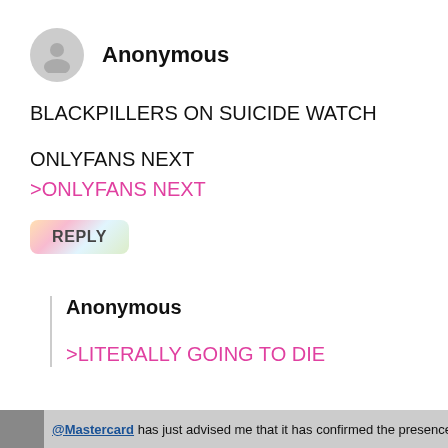[Figure (illustration): Anonymous user avatar — grey circle with silhouette of a person]
Anonymous
BLACKPILLERS ON SUICIDE WATCH
ONLYFANS NEXT
>ONLYFANS NEXT
REPLY
Anonymous
>LITERALLY GOING TO DIE
@Mastercard has just advised me that it has confirmed the presence of